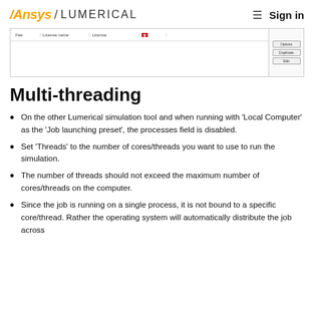Ansys / LUMERICAL  ≡  Sign in
[Figure (screenshot): Screenshot of a Lumerical simulation interface table with columns and a red button, and a right panel with buttons labeled Options, Duplicate, Edit]
Multi-threading
On the other Lumerical simulation tool and when running with 'Local Computer' as the 'Job launching preset', the processes field is disabled.
Set 'Threads' to the number of cores/threads you want to use to run the simulation.
The number of threads should not exceed the maximum number of cores/threads on the computer.
Since the job is running on a single process, it is not bound to a specific core/thread. Rather the operating system will automatically distribute the job across